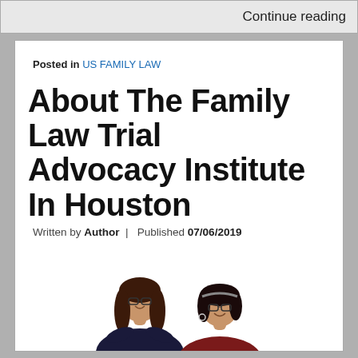Continue reading
Posted in US FAMILY LAW
About The Family Law Trial Advocacy Institute In Houston
Written by Author | Published 07/06/2019
[Figure (photo): Two women smiling, one with long brown hair wearing a dark blazer, one with short dark hair wearing a dark red top, both wearing glasses]